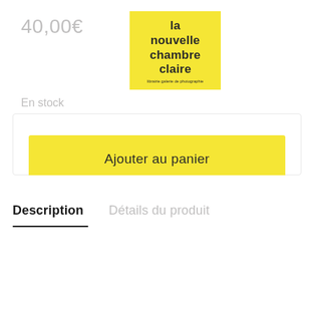40,00€
[Figure (logo): La Nouvelle Chambre Claire logo — yellow square background with bold dark text reading 'la nouvelle chambre claire' and small subtitle 'librairie galerie de photographie']
En stock
Ajouter au panier
Ajouter à la liste de souhaits
Description
Détails du produit